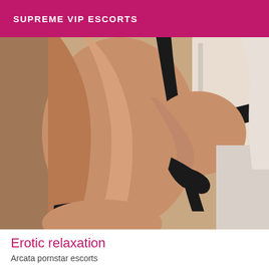SUPREME VIP ESCORTS
[Figure (photo): A woman wearing a black swimsuit/dress, photographed from the side, showing her back and figure against a light indoor background.]
Erotic relaxation
Arcata pornstar escorts